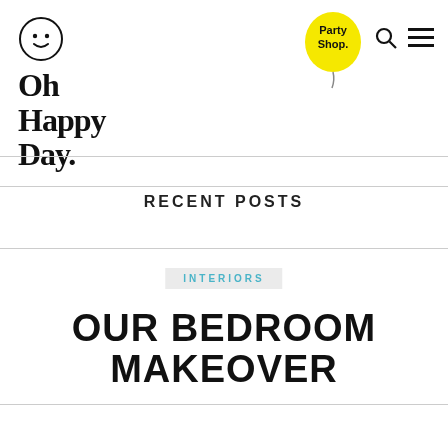Oh Happy Day. — navigation header with Party Shop balloon, search icon, and hamburger menu
RECENT POSTS
INTERIORS
OUR BEDROOM MAKEOVER